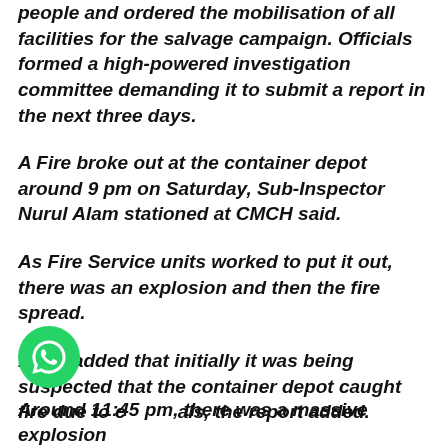people and ordered the mobilisation of all facilities for the salvage campaign. Officials formed a high-powered investigation committee demanding it to submit a report in the next three days.
A Fire broke out at the container depot around 9 pm on Saturday, Sub-Inspector Nurul Alam stationed at CMCH said.
As Fire Service units worked to put it out, there was an explosion and then the fire spread.
Nurul added that initially it was being suspected that the container depot caught fire due to chemicals, the report added.
Around 11:45 pm, there was a massive explosion